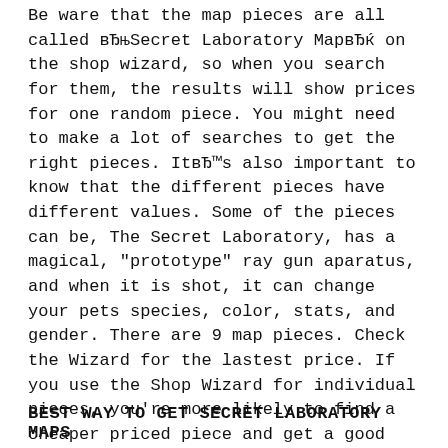Be ware that the map pieces are all called вЂњSecret Laboratory МарвЂќ on the shop wizard, so when you search for them, the results will show prices for one random piece. You might need to make a lot of searches to get the right pieces. ItвЂ™s also important to know that the different pieces have different values. Some of the pieces can be, The Secret Laboratory, has a magical, "prototype" ray gun aparatus, and when it is shot, it can change your pets species, color, stats, and gender. There are 9 map pieces. Check the Wizard for the lastest price. If you use the Shop Wizard for individual pieces, you're more likely to find a cheaper priced piece and get a good deal..
BEST WAY TO GET SECRET LABORATORY MAPS